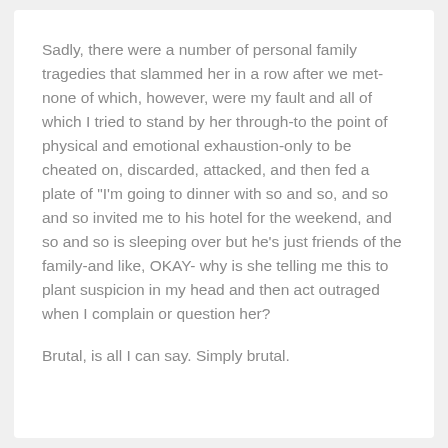Sadly, there were a number of personal family tragedies that slammed her in a row after we met-none of which, however, were my fault and all of which I tried to stand by her through-to the point of physical and emotional exhaustion-only to be cheated on, discarded, attacked, and then fed a plate of "I'm going to dinner with so and so, and so and so invited me to his hotel for the weekend, and so and so is sleeping over but he's just friends of the family-and like, OKAY- why is she telling me this to plant suspicion in my head and then act outraged when I complain or question her?
Brutal, is all I can say. Simply brutal.